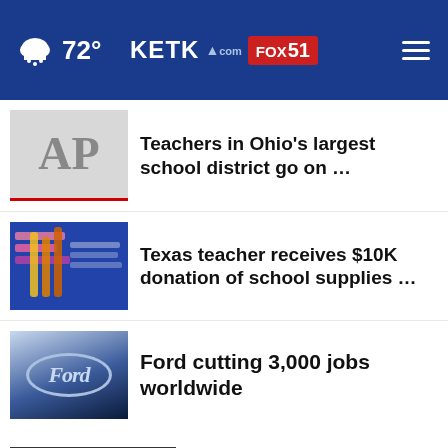72° KETK.com FOX51
Teachers in Ohio's largest school district go on …
Texas teacher receives $10K donation of school supplies …
Ford cutting 3,000 jobs worldwide
More Stories ›
KETK.com | FOX51.com Video